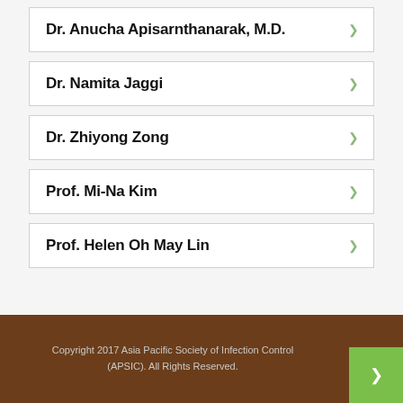Dr. Anucha Apisarnthanarak, M.D.
Dr. Namita Jaggi
Dr. Zhiyong Zong
Prof. Mi-Na Kim
Prof. Helen Oh May Lin
Copyright 2017 Asia Pacific Society of Infection Control (APSIC). All Rights Reserved.